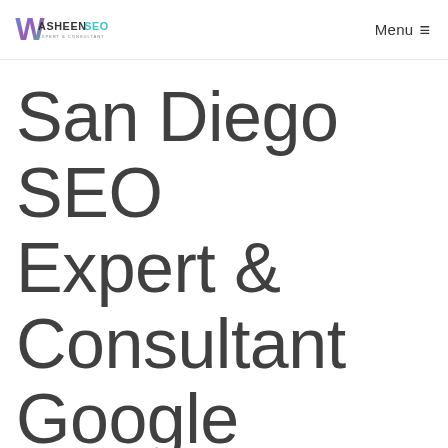[Figure (logo): WasheenSEO Expert & Consultant logo with stylized W icon in blue/purple gradient and teal text]
Menu ≡
San Diego SEO Expert & Consultant Google Marketing